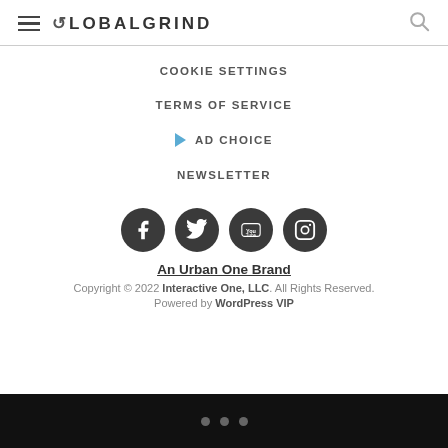GLOBALGRIND
COOKIE SETTINGS
TERMS OF SERVICE
AD CHOICE
NEWSLETTER
[Figure (infographic): Social media icons: Facebook, Twitter, YouTube, Instagram — dark circular buttons]
An Urban One Brand
Copyright © 2022 Interactive One, LLC. All Rights Reserved.
Powered by WordPress VIP
• • •